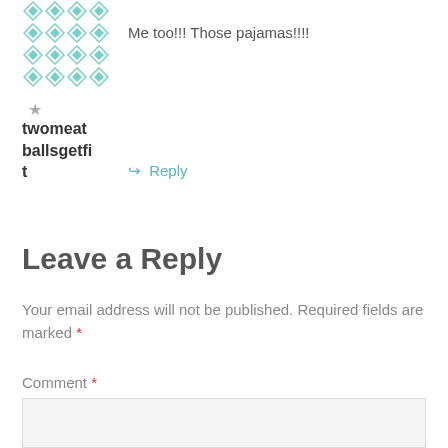[Figure (illustration): Teal/mint geometric diamond/lattice pattern avatar icon]
Me too!!! Those pajamas!!!!
[Figure (other): Gray star icon]
twomeatballsgetfit
↳ Reply
Leave a Reply
Your email address will not be published. Required fields are marked *
Comment *